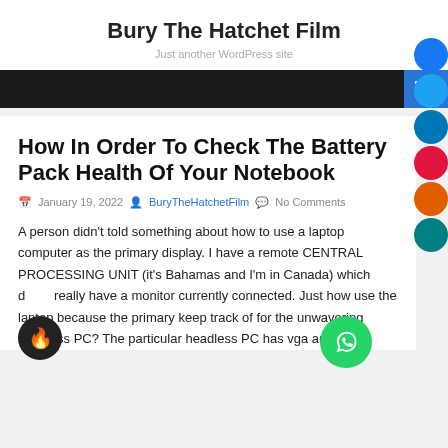Bury The Hatchet Film
Just another WordPress site
How In Order To Check The Battery Pack Health Of Your Notebook
January 19, 2022  BuryTheHatchetFilm  No Comments
A person didn't told something about how to use a laptop computer as the primary display. I have a remote CENTRAL PROCESSING UNIT (it's Bahamas and I'm in Canada) which d really have a monitor currently connected. Just how use the laptop because the primary keep track of for the unwavering headless PC? The particular headless PC has vga and